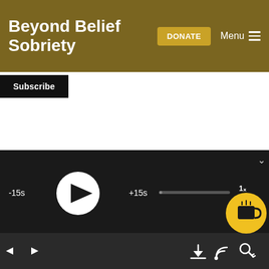Beyond Belief Sobriety
Subscribe
the coffee shop, that, if people are in the Facebook coffee shop, they can join us there, get the link there. We have two meetings now, so there’s the Monday night meeting, which is the original meeting, and then Gail just decided after much thought, and now we all discussed it, to have a second online meeting so that people overseas would have a better opportunity to
[Figure (screenshot): Audio player bar with -15s skip back button, play button (white circle with triangle), +15s skip forward button, progress bar, speed indicator (1x), and coffee cup tip icon (yellow circle). Below is a navigation bar with back/forward arrows, download icon, cast icon, and settings icon.]